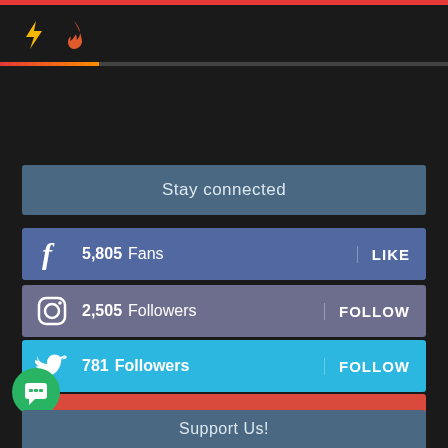[Figure (infographic): Top navigation bar with lightning bolt and fire emoji icons, and a progress/loading bar below them]
Stay connected
5,805  Fans  LIKE
2,505  Followers  FOLLOW
781  Followers  FOLLOW
8,510  Subscribers  SUBSCRIBE
Support Us!